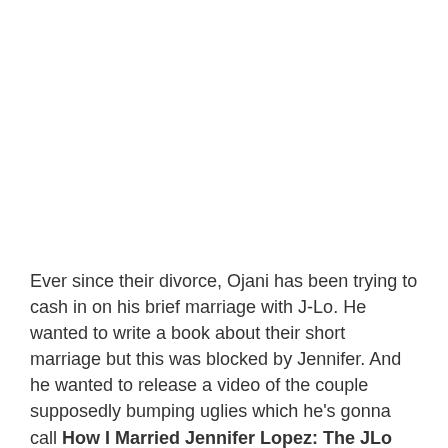Ever since their divorce, Ojani has been trying to cash in on his brief marriage with J-Lo. He wanted to write a book about their short marriage but this was blocked by Jennifer. And he wanted to release a video of the couple supposedly bumping uglies which he's gonna call How I Married Jennifer Lopez: The JLo and Ojani Noa Story.